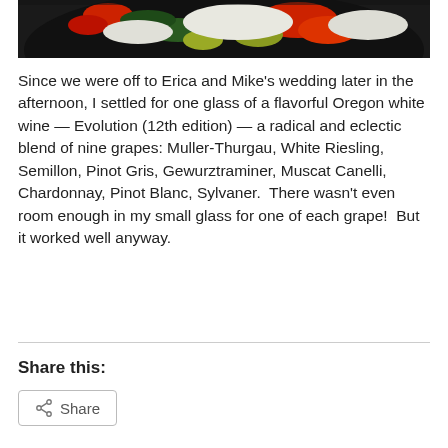[Figure (photo): Close-up photo of food dish with red peppers, green vegetables, and white fish or chicken on a dark plate]
Since we were off to Erica and Mike's wedding later in the afternoon, I settled for one glass of a flavorful Oregon white wine — Evolution (12th edition) — a radical and eclectic blend of nine grapes: Muller-Thurgau, White Riesling, Semillon, Pinot Gris, Gewurztraminer, Muscat Canelli, Chardonnay, Pinot Blanc, Sylvaner.  There wasn't even room enough in my small glass for one of each grape!  But it worked well anyway.
Share this:
Share